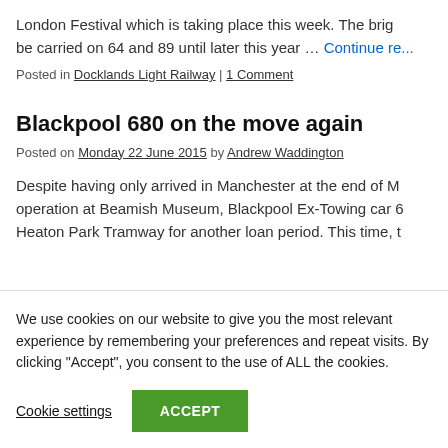London Festival which is taking place this week. The brig... be carried on 64 and 89 until later this year … Continue re...
Posted in Docklands Light Railway | 1 Comment
Blackpool 680 on the move again
Posted on Monday 22 June 2015 by Andrew Waddington
Despite having only arrived in Manchester at the end of M... operation at Beamish Museum, Blackpool Ex-Towing car 6... Heaton Park Tramway for another loan period. This time, t...
We use cookies on our website to give you the most relevant experience by remembering your preferences and repeat visits. By clicking "Accept", you consent to the use of ALL the cookies.
Cookie settings  ACCEPT